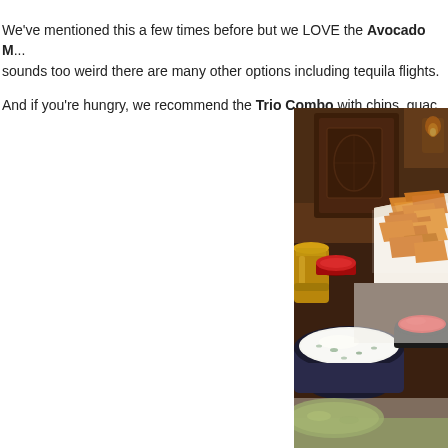We've mentioned this a few times before but we LOVE the Avocado M... sounds too weird there are many other options including tequila flights.
And if you're hungry, we recommend the Trio Combo with chips, guac...
[Figure (photo): Restaurant table scene with a menu book, basket of tortilla chips in white paper, a bowl of white queso dip with dark speckling, a small bowl of red salsa, a gold/brass cup, and a portion of guacamole visible at bottom right. Warm, dimly lit restaurant ambiance in background.]